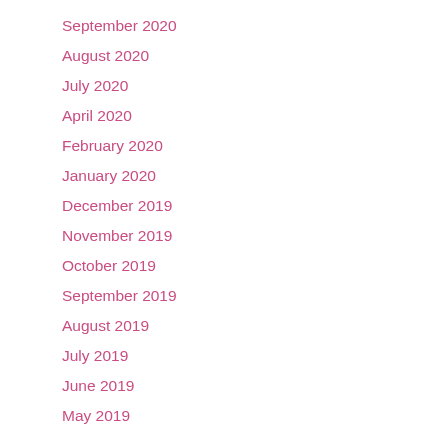September 2020
August 2020
July 2020
April 2020
February 2020
January 2020
December 2019
November 2019
October 2019
September 2019
August 2019
July 2019
June 2019
May 2019